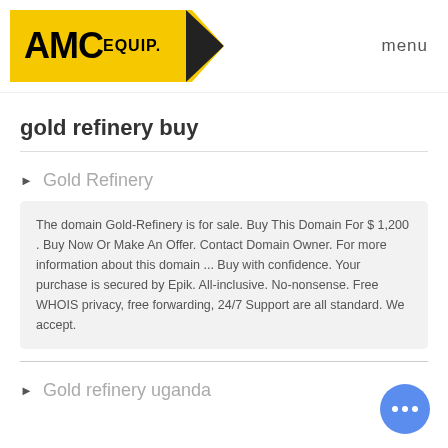[Figure (logo): AMC EQUIP. logo with yellow banner and black arrow pointing left]
menu
gold refinery buy
Gold Refinery
The domain Gold-Refinery is for sale. Buy This Domain For $ 1,200 . Buy Now Or Make An Offer. Contact Domain Owner. For more information about this domain ... Buy with confidence. Your purchase is secured by Epik. All-inclusive. No-nonsense. Free WHOIS privacy, free forwarding, 24/7 Support are all standard. We accept.
Gold refinery uganda